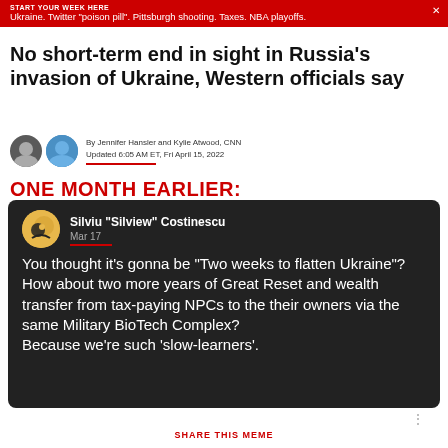START YOUR WEEK HERE
Ukraine. Twitter "poison pill". Pittsburgh shooting. Taxes. NBA playoffs.
No short-term end in sight in Russia's invasion of Ukraine, Western officials say
By Jennifer Hansler and Kylie Atwood, CNN
Updated 6:05 AM ET, Fri April 15, 2022
ONE MONTH EARLIER:
[Figure (screenshot): Dark social media post by Silviu "Silview" Costinescu, Mar 17, with yellow circle avatar. Text: You thought it's gonna be "Two weeks to flatten Ukraine"? How about two more years of Great Reset and wealth transfer from tax-paying NPCs to the their owners via the same Military BioTech Complex? Because we're such 'slow-learners'.]
SHARE THIS MEME